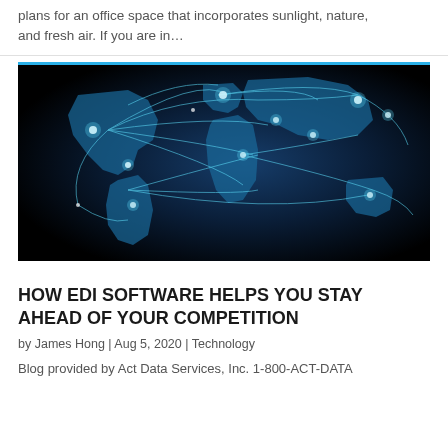plans for an office space that incorporates sunlight, nature, and fresh air. If you are in…
[Figure (photo): Global network connectivity image: a glowing blue world map on dark background with light trails connecting cities across continents]
HOW EDI SOFTWARE HELPS YOU STAY AHEAD OF YOUR COMPETITION
by James Hong | Aug 5, 2020 | Technology
Blog provided by Act Data Services, Inc. 1-800-ACT-DATA